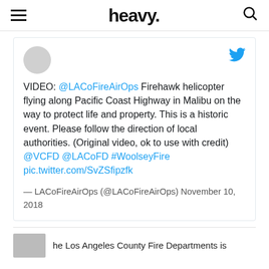heavy.
[Figure (screenshot): Embedded tweet from @LACoFireAirOps with Twitter bird icon, avatar placeholder, tweet text about Firehawk helicopter, and attribution dated November 10, 2018]
he Los Angeles County Fire Departments is